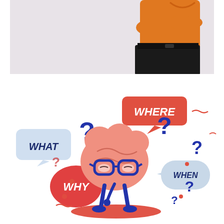[Figure (illustration): Partial view of a person with arms crossed, wearing an orange top and black skirt/pants, cropped at the waist, against a light gray background.]
[Figure (illustration): Cartoon brain character wearing glasses standing on legs, surrounded by speech bubbles labeled WHAT, WHERE, WHY, WHEN with large blue question marks, on a white background. The brain is pink/salmon colored with dark blue glasses and limbs.]